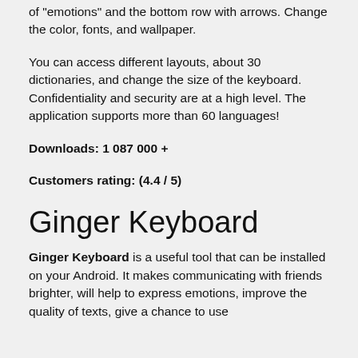of "emotions" and the bottom row with arrows. Change the color, fonts, and wallpaper.
You can access different layouts, about 30 dictionaries, and change the size of the keyboard. Confidentiality and security are at a high level. The application supports more than 60 languages!
Downloads: 1 087 000 +
Customers rating: (4.4 / 5)
Ginger Keyboard
Ginger Keyboard is a useful tool that can be installed on your Android. It makes communicating with friends brighter, will help to express emotions, improve the quality of texts, give a chance to use